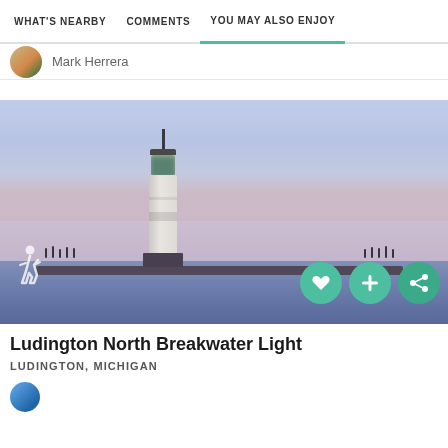WHAT'S NEARBY   COMMENTS   YOU MAY ALSO ENJOY
Mark Herrera
[Figure (photo): Photograph of Ludington North Breakwater Light at dusk. A white lighthouse tower stands on a breakwater extending into calm water. The sky is a soft purple-blue with pink clouds. Silhouettes of visitors line the breakwater. Action icons (heart, plus, share) appear in the bottom-right corner; a walking person icon in the bottom-left.]
Ludington North Breakwater Light
LUDINGTON, MICHIGAN